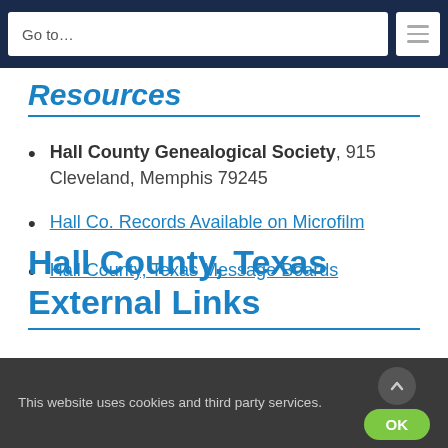Go to…
Resources
Hall County Genealogical Society, 915 Cleveland, Memphis 79245
Hall Co. Records Available on Microfilm
Hall County, Texas Message Boards
Hall County, Texas External Links
This website uses cookies and third party services.